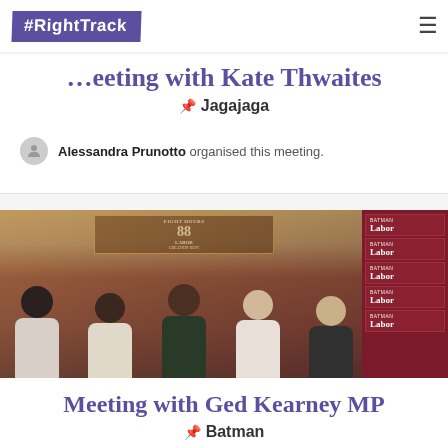#RightTrack
Meeting with Kate Thwaites
Jagajaga
Alessandra Prunotto organised this meeting.
[Figure (photo): Group photo of five young women standing in front of an Eight Hours Labor movement mural and Batman Labor banners]
Meeting with Ged Kearney MP
Batman
semele costelloe organised this meeting.